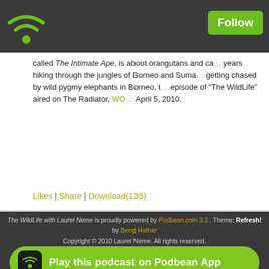[Figure (logo): Podbean wifi logo in header bar, green wifi signal icon on dark grey background]
Follow
called The Intimate Ape, is about orangutans and ca... years hiking through the jungles of Borneo and Suma... getting chased by wild pygmy elephants in Borneo, t... episode of "The WildLife" aired on The Radiator, WO... April 5, 2010.
Likes | Share | Download(135)
The WildLife with Laurel Neme is proudly powered by Podbean.com 3.2 . Theme: Refresh! by Beng Hafner Copyright © 2010 Laurel Neme. All rights reserved.
[Figure (logo): Play this podcast on Podbean App button with green rounded rectangle and wifi icon]